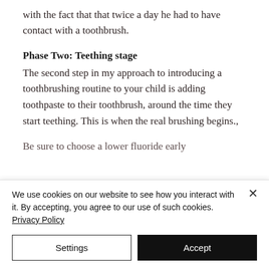with the fact that that twice a day he had to have contact with a toothbrush.
Phase Two: Teething stage
The second step in my approach to introducing a toothbrushing routine to your child is adding toothpaste to their toothbrush, around the time they start teething. This is when the real brushing begins.,
Be sure to choose a lower fluoride early
We use cookies on our website to see how you interact with it. By accepting, you agree to our use of such cookies. Privacy Policy
Settings
Accept